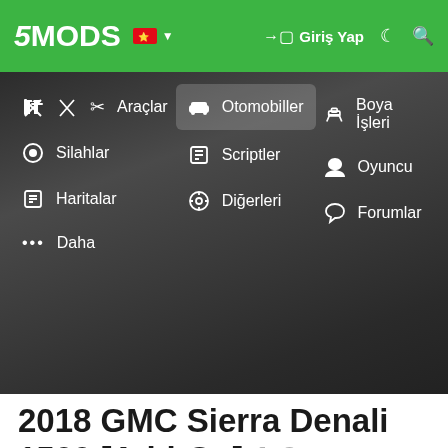5MODS | Giriş Yap
[Figure (screenshot): 5MODS website navigation menu open showing: Araçlar, Silahlar, Haritalar, Daha on left; Otomobiller (highlighted), Scriptler, Diğerleri in center; Boya İşleri, Oyuncu, Forumlar on right. Dark overlay on background image.]
2018 GMC Sierra Denali 1500 [Add-On] 1.0